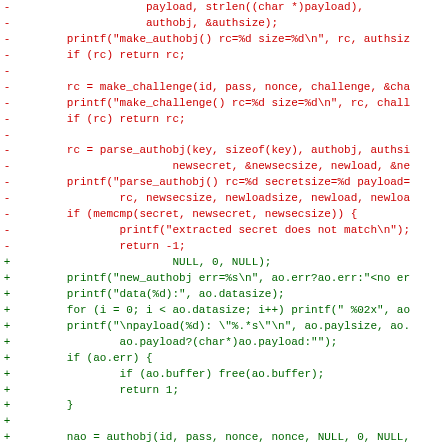[Figure (screenshot): A code diff showing removed lines (in red, prefixed with '-') and added lines (in green, prefixed with '+'). The diff shows changes to C code involving authobj, make_challenge, parse_authobj, and related functions.]